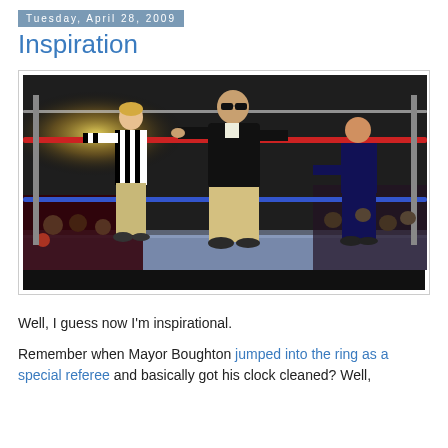Tuesday, April 28, 2009
Inspiration
[Figure (photo): Photo of people in a wrestling ring. A person in a black and white striped referee shirt on the left, a larger man in a dark jacket and khaki pants in the center, and another person in dark clothing on the right. Red and blue ropes of the wrestling ring are visible. Audience members visible in the lower left corner.]
Well, I guess now I'm inspirational.
Remember when Mayor Boughton jumped into the ring as a special referee and basically got his clock cleaned? Well,